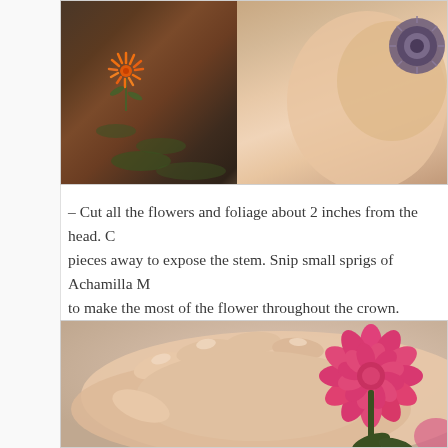[Figure (photo): Close-up photo of hands holding flowers including an orange spiky flower and dark purple/grey flower against a dark earthy background]
– Cut all the flowers and foliage about 2 inches from the head. C... pieces away to expose the stem. Snip small sprigs of Achamilla M... to make the most of the flower throughout the crown.
[Figure (photo): Close-up photo of a hand holding a bright pink dahlia or carnation flower against a soft beige/blush background]